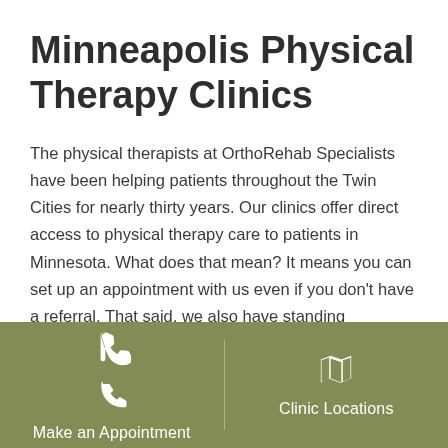Minneapolis Physical Therapy Clinics
The physical therapists at OrthoRehab Specialists have been helping patients throughout the Twin Cities for nearly thirty years. Our clinics offer direct access to physical therapy care to patients in Minnesota. What does that mean? It means you can set up an appointment with us even if you don't have a referral. That said, we also have standing relationships with more than 600 local providers who regularly refer their patients to us when continued rehabilitation care
[Figure (infographic): Footer bar with two call-to-action buttons on olive/green background: left cell shows a phone icon with 'Make an Appointment', right cell shows a map icon with 'Clinic Locations', separated by a vertical divider.]